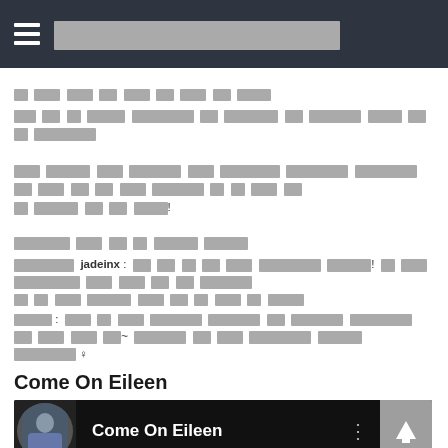[menu icon] [site title redacted]
[redacted text line 1]
[redacted text line 2 - longer]
[redacted paragraph block]
[redacted section label]
[redacted comment with username jadeinx]
[redacted comment with username]
Come On Eileen
[Figure (screenshot): Media player showing 'Come On Eileen' song with thumbnail, dots menu, and up arrow button on dark background]